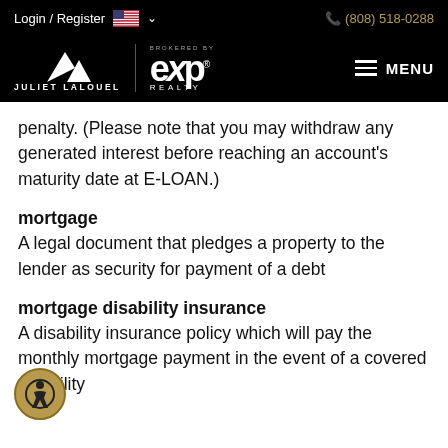Login / Register  🇺🇸 ∨    (808) 518-0288
[Figure (logo): Juliet Lalouel brokered by eXp Realty logo on black background with hamburger menu]
penalty. (Please note that you may withdraw any generated interest before reaching an account's maturity date at E-LOAN.)
mortgage
A legal document that pledges a property to the lender as security for payment of a debt
mortgage disability insurance
A disability insurance policy which will pay the monthly mortgage payment in the event of a covered disability for a insured borrower for a specified period of time